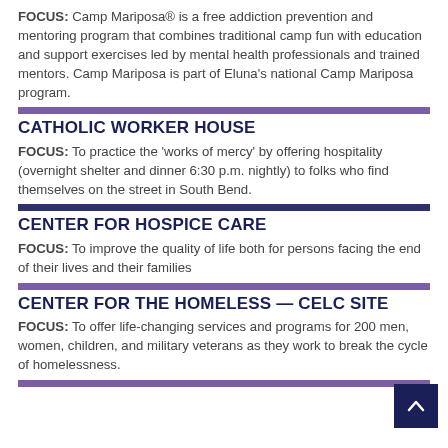FOCUS: Camp Mariposa® is a free addiction prevention and mentoring program that combines traditional camp fun with education and support exercises led by mental health professionals and trained mentors. Camp Mariposa is part of Eluna's national Camp Mariposa program.
CATHOLIC WORKER HOUSE
FOCUS: To practice the 'works of mercy' by offering hospitality (overnight shelter and dinner 6:30 p.m. nightly) to folks who find themselves on the street in South Bend.
CENTER FOR HOSPICE CARE
FOCUS: To improve the quality of life both for persons facing the end of their lives and their families
CENTER FOR THE HOMELESS — CELC SITE
FOCUS: To offer life-changing services and programs for 200 men, women, children, and military veterans as they work to break the cycle of homelessness.